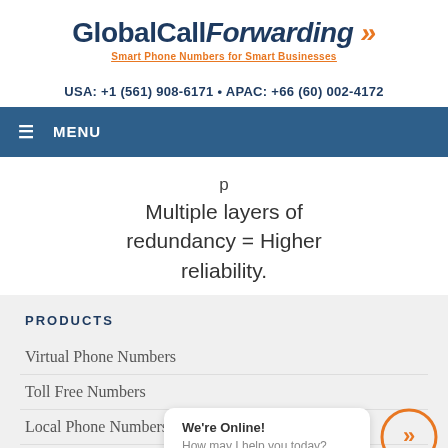[Figure (logo): Global Call Forwarding logo with orange arrows and tagline 'Smart Phone Numbers for Smart Businesses']
USA: +1 (561) 908-6171 • APAC: +66 (60) 002-4172
≡ MENU
Multiple layers of redundancy = Higher reliability.
PRODUCTS
Virtual Phone Numbers
Toll Free Numbers
Local Phone Numbers
Outbound Calling
We're Online! How may I help you today?